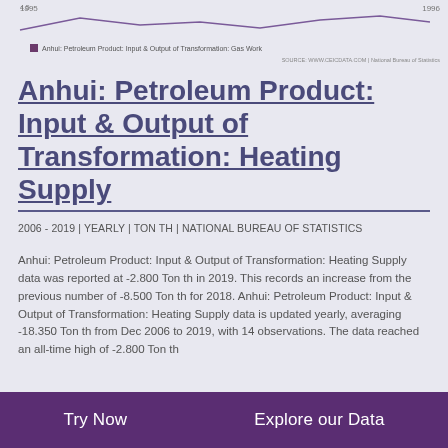[Figure (continuous-plot): Partial line chart showing Anhui Petroleum Product Input & Output of Transformation: Gas Work, with years 1995 and 1996 visible on x-axis]
Anhui: Petroleum Product: Input & Output of Transformation: Heating Supply
2006 - 2019 | YEARLY | TON TH | NATIONAL BUREAU OF STATISTICS
Anhui: Petroleum Product: Input & Output of Transformation: Heating Supply data was reported at -2.800 Ton th in 2019. This records an increase from the previous number of -8.500 Ton th for 2018. Anhui: Petroleum Product: Input & Output of Transformation: Heating Supply data is updated yearly, averaging -18.350 Ton th from Dec 2006 to 2019, with 14 observations. The data reached an all-time high of -2.800 Ton th
Try Now    Explore our Data